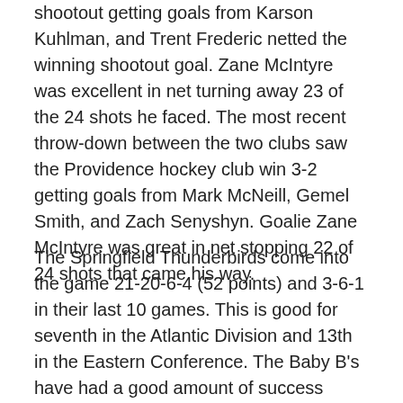shootout getting goals from Karson Kuhlman, and Trent Frederic netted the winning shootout goal. Zane McIntyre was excellent in net turning away 23 of the 24 shots he faced. The most recent throw-down between the two clubs saw the Providence hockey club win 3-2 getting goals from Mark McNeill, Gemel Smith, and Zach Senyshyn. Goalie Zane McIntyre was great in net stopping 22 of 24 shots that came his way.
The Springfield Thunderbirds come into the game 21-20-6-4 (52 points) and 3-6-1 in their last 10 games. This is good for seventh in the Atlantic Division and 13th in the Eastern Conference. The Baby B's have had a good amount of success against the Panthers' affiliate over the past five years with a record of 21-10-3 and 4-3-1 this season. Defense again will play a major role in who wins this game. The Thunderbirds have scored 170 goals